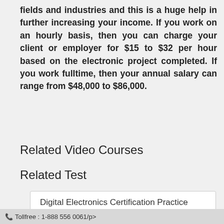fields and industries and this is a huge help in further increasing your income. If you work on an hourly basis, then you can charge your client or employer for $15 to $32 per hour based on the electronic project completed. If you work fulltime, then your annual salary can range from $48,000 to $86,000.
Related Video Courses
Related Test
Digital Electronics Certification Practice
Tollfree : 1-888 556 0061/p>